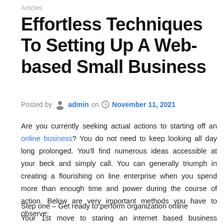Articles
Effortless Techniques To Setting Up A Web-based Small Business
Posted by admin on November 11, 2021
Are you currently seeking actual actions to starting off an online business? You do not need to keep looking all day long prolonged. You'll find numerous ideas accessible at your beck and simply call. You can generally triumph in creating a flourishing on line enterprise when you spend more than enough time and power during the course of action. Below are very important methods you have to observe:
Step one – Get ready to perform organization online
Your 1st move to staring an internet based business enterprise